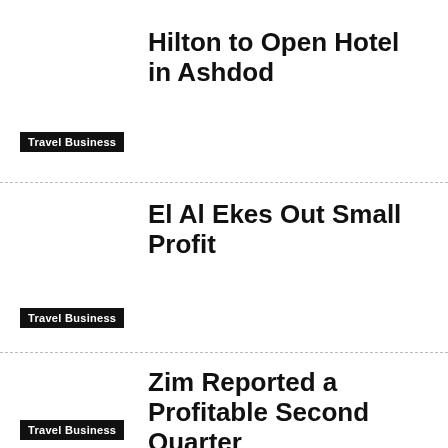Hilton to Open Hotel in Ashdod
Travel Business
El Al Ekes Out Small Profit
Travel Business
Zim Reported a Profitable Second Quarter
Travel Business